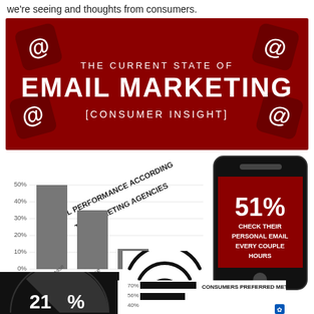we're seeing and thoughts from consumers.
[Figure (infographic): The Current State of Email Marketing [Consumer Insight] - dark red banner with @ symbols]
[Figure (bar-chart): Email Performance According to Marketing Agencies]
[Figure (infographic): 51% Check Their Personal Email Every Couple Hours - smartphone graphic]
[Figure (infographic): 21% donut/pie - black semicircle chart]
[Figure (infographic): WiFi symbol graphic]
[Figure (bar-chart): Consumers Preferred Method]